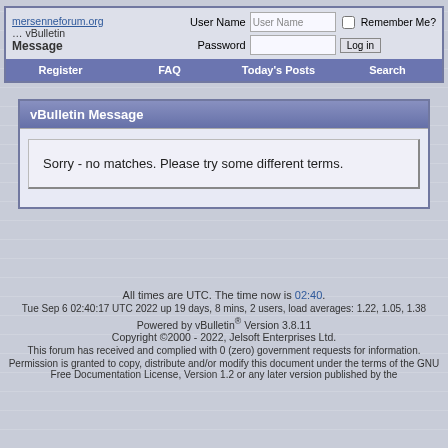mersenneforum.org vBulletin Message — User Name / Password / Remember Me? / Log in
Register | FAQ | Today's Posts | Search
vBulletin Message
Sorry - no matches. Please try some different terms.
All times are UTC. The time now is 02:40.
Tue Sep 6 02:40:17 UTC 2022 up 19 days, 8 mins, 2 users, load averages: 1.22, 1.05, 1.38
Powered by vBulletin® Version 3.8.11 Copyright ©2000 - 2022, Jelsoft Enterprises Ltd.
This forum has received and complied with 0 (zero) government requests for information.
Permission is granted to copy, distribute and/or modify this document under the terms of the GNU Free Documentation License, Version 1.2 or any later version published by the